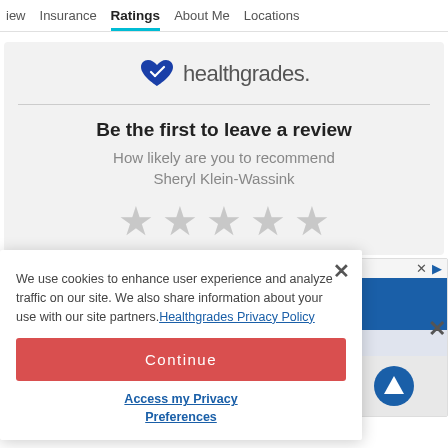iew  Insurance  Ratings  About Me  Locations
[Figure (logo): Healthgrades logo with heart icon]
Be the first to leave a review
How likely are you to recommend Sheryl Klein-Wassink
[Figure (other): Five empty grey star rating icons]
We use cookies to enhance user experience and analyze traffic on our site. We also share information about your use with our site partners. Healthgrades Privacy Policy
Continue
Access my Privacy Preferences